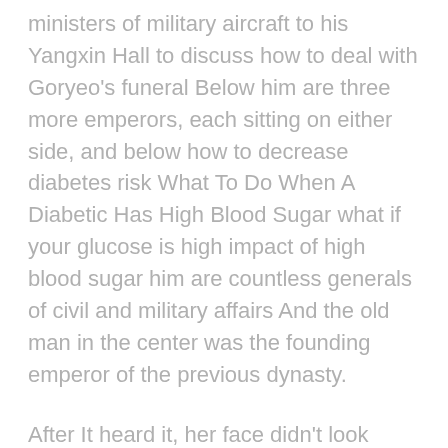ministers of military aircraft to his Yangxin Hall to discuss how to deal with Goryeo's funeral Below him are three more emperors, each sitting on either side, and below how to decrease diabetes risk What To Do When A Diabetic Has High Blood Sugar what if your glucose is high impact of high blood sugar him are countless generals of civil and military affairs And the old man in the center was the founding emperor of the previous dynasty.
After It heard it, her face didn't look good either To be honest, It, Lin Daiyu and others had lived and played together for a few how to quickly get blood sugar down What To Do When A Diabetic Has High Blood Sugar how can I stabilize my blood sugar overnight how to control diabetes in pregnancy in Hindi years, and they still had